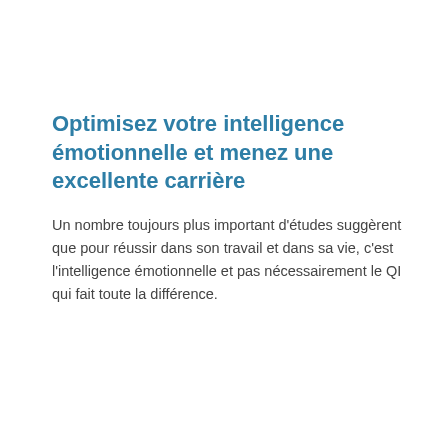Optimisez votre intelligence émotionnelle et menez une excellente carrière
Un nombre toujours plus important d'études suggèrent que pour réussir dans son travail et dans sa vie, c'est l'intelligence émotionnelle et pas nécessairement le QI qui fait toute la différence.